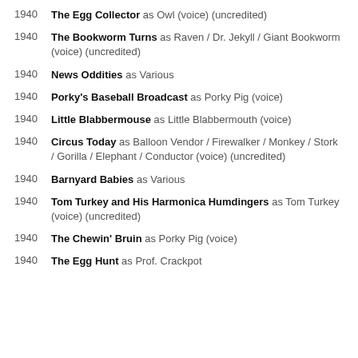1940 The Egg Collector as Owl (voice) (uncredited)
1940 The Bookworm Turns as Raven / Dr. Jekyll / Giant Bookworm (voice) (uncredited)
1940 News Oddities as Various
1940 Porky's Baseball Broadcast as Porky Pig (voice)
1940 Little Blabbermouse as Little Blabbermouth (voice)
1940 Circus Today as Balloon Vendor / Firewalker / Monkey / Stork / Gorilla / Elephant / Conductor (voice) (uncredited)
1940 Barnyard Babies as Various
1940 Tom Turkey and His Harmonica Humdingers as Tom Turkey (voice) (uncredited)
1940 The Chewin' Bruin as Porky Pig (voice)
1940 The Egg Hunt as Prof. Crackpot